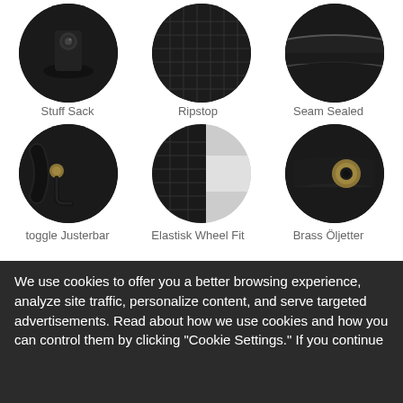[Figure (photo): Three circular product detail images in top row: stuff sack with logo, ripstop fabric close-up, seam sealed fabric close-up]
Stuff Sack
Ripstop
Seam Sealed
[Figure (photo): Three circular product detail images in bottom row: toggle Justerbar drawstring, Elastisk Wheel Fit elastic, Brass Öljetter brass eyelet]
toggle Justerbar
Elastisk Wheel Fit
Brass Öljetter
SMALL
£24.95
längd: 140cm
Colours:
We use cookies to offer you a better browsing experience, analyze site traffic, personalize content, and serve targeted advertisements. Read about how we use cookies and how you can control them by clicking "Cookie Settings." If you continue